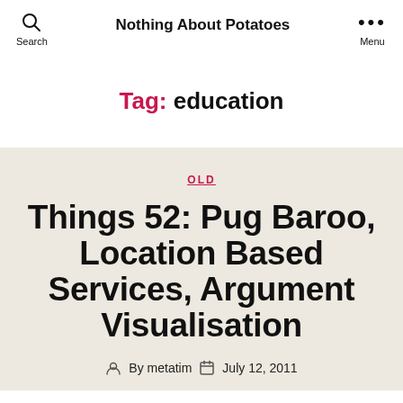Nothing About Potatoes
Tag: education
OLD
Things 52: Pug Baroo, Location Based Services, Argument Visualisation
By metatim   July 12, 2011